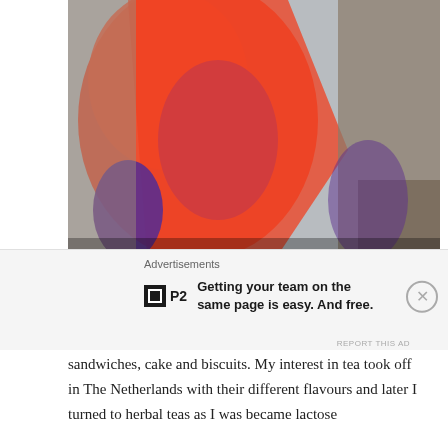[Figure (photo): Person wearing red/orange garment with purple accents, seated indoors. Caption overlay reads 'Red Hat Society winning Hat!']
Valery - I guess that tea has always been a part of my life but when I lived at home it was your typical strong cuppa with milk. Plus we always had tea time around 5pm with sandwiches, cake and biscuits. My interest in tea took off in The Netherlands with their different flavours and later I turned to herbal teas as I was became lactose
Advertisements
Getting your team on the same page is easy. And free.